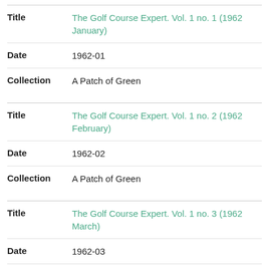| Field | Value |
| --- | --- |
| Title | The Golf Course Expert. Vol. 1 no. 1 (1962 January) |
| Date | 1962-01 |
| Collection | A Patch of Green |
| Title | The Golf Course Expert. Vol. 1 no. 2 (1962 February) |
| Date | 1962-02 |
| Collection | A Patch of Green |
| Title | The Golf Course Expert. Vol. 1 no. 3 (1962 March) |
| Date | 1962-03 |
| Collection | A Patch of Green |